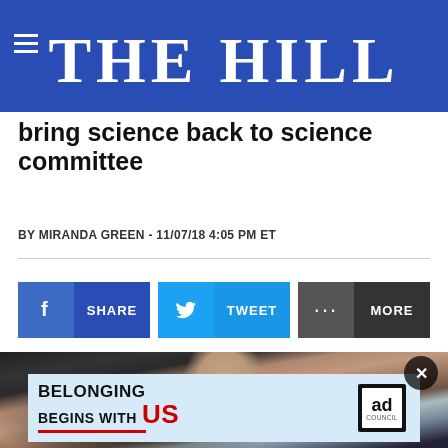THE HILL
bring science back to science committee
BY MIRANDA GREEN - 11/07/18 4:05 PM ET
[Figure (screenshot): Social share buttons: Facebook SHARE, Twitter TWEET, and MORE options]
[Figure (photo): Photo of a woman with short dark hair, appears to be at a press event with American flags in background. An advertisement overlay reads 'BELONGING BEGINS WITH US' with Ad Council logo.]